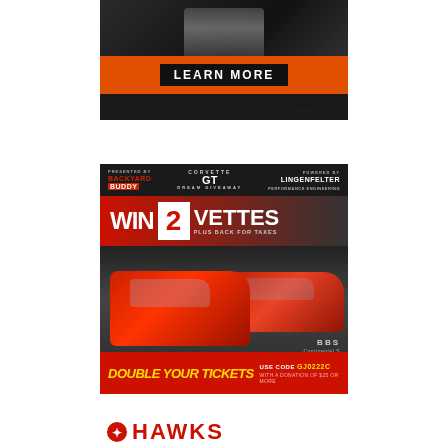[Figure (photo): Advertisement for Kane Laboratories LLC with 'LEARN MORE' button on orange bar and copyright text '©2021 Kane Laboratories, LLC'. Shows engine/automotive imagery at top.]
[Figure (photo): Advertisement: 'WIN 2 VETTES PLUS BACK FOR TAXES' sweepstakes showing two red Corvettes. Sponsored by Backyard Buddy and Lingenfelter. Footer reads 'DOUBLE YOUR TICKETS USE CODE GJ0222C WITH A DONATION OF $25 OR MORE'. BBS and Continental tire logos visible.]
[Figure (photo): Partial advertisement for Hawks (automotive dealership/brand) showing checkered flag logo and 'HAWKS' text in red.]